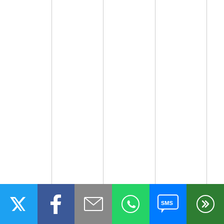Novi Sad to Subotica on the train
Train posts got a lot of hits from trainspotters, lol and then what? Cornered, maybe other places will open… re visit Bulgaria (havent been since 2011)
[Figure (other): Social share bar with Twitter, Facebook, Email, WhatsApp, SMS, and More buttons]